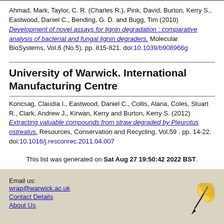Ahmad, Mark, Taylor, C. R. (Charles R.), Pink, David, Burton, Kerry S., Eastwood, Daniel C., Bending, G. D. and Bugg, Tim (2010) Development of novel assays for lignin degradation : comparative analysis of bacterial and fungal lignin degraders. Molecular BioSystems, Vol.6 (No.5). pp. 815-821. doi:10.1039/b908966g
University of Warwick. International Manufacturing Centre
Koncsag, Claudia I., Eastwood, Daniel C., Collis, Alana, Coles, Stuart R., Clark, Andrew J., Kirwan, Kerry and Burton, Kerry S. (2012) Extracting valuable compounds from straw degraded by Pleurotus ostreatus. Resources, Conservation and Recycling, Vol.59 . pp. 14-22. doi:10.1016/j.resconrec.2011.04.007
This list was generated on Sat Aug 27 19:50:42 2022 BST.
Email us: wrap@warwick.ac.uk
Contact Details
About Us